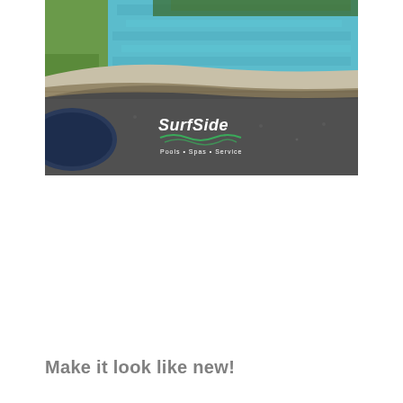[Figure (photo): Aerial/close-up photo of a luxury curved infinity pool with dark aggregate finish walls and light blue water. The SurfSide logo is visible in the lower-left area of the photo, with text 'Pools • Spas • Service' beneath it. Surrounding landscape includes green grass.]
Make it look like new!